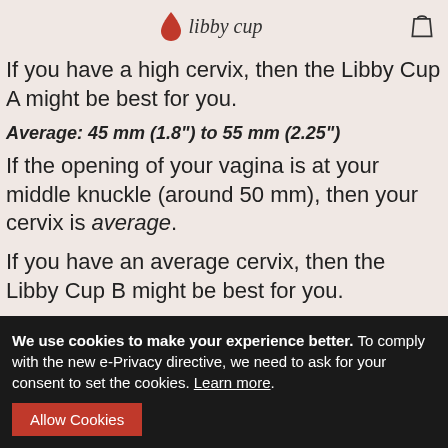libby cup
If you have a high cervix, then the Libby Cup A might be best for you.
Average: 45 mm (1.8") to 55 mm (2.25")
If the opening of your vagina is at your middle knuckle (around 50 mm), then your cervix is average.
If you have an average cervix, then the Libby Cup B might be best for you.
We use cookies to make your experience better. To comply with the new e-Privacy directive, we need to ask for your consent to set the cookies. Learn more.
Low: 44 mm (1.6") or lower
If the first knuckle sits at the opening of your